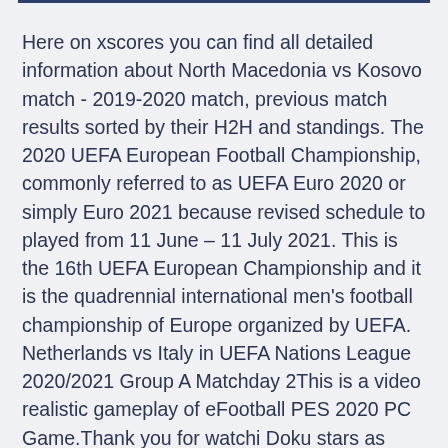Here on xscores you can find all detailed information about North Macedonia vs Kosovo match - 2019-2020 match, previous match results sorted by their H2H and standings. The 2020 UEFA European Football Championship, commonly referred to as UEFA Euro 2020 or simply Euro 2021 because revised schedule to played from 11 June – 11 July 2021. This is the 16th UEFA European Championship and it is the quadrennial international men's football championship of Europe organized by UEFA. Netherlands vs Italy in UEFA Nations League 2020/2021 Group A Matchday 2This is a video realistic gameplay of eFootball PES 2020 PC Game.Thank you for watchi Doku stars as Netherlands romp home vs. Belarus Jeremy Doku showed why he has been named as a player to watch at Euro 2020